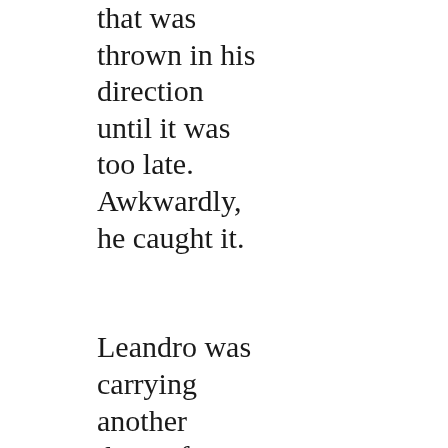that was thrown in his direction until it was too late. Awkwardly, he caught it.

Leandro was carrying another three of similar size, his right hand remarkably